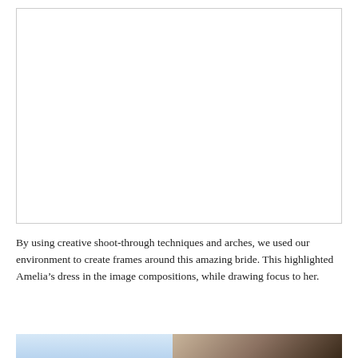[Figure (photo): Large white/blank photo placeholder with thin border, taking up the top portion of the page]
By using creative shoot-through techniques and arches, we used our environment to create frames around this amazing bride. This highlighted Amelia’s dress in the image compositions, while drawing focus to her.
[Figure (photo): Two side-by-side photos at the bottom: left shows a light blue sky gradient, right shows an ornate iron railing/arch detail]